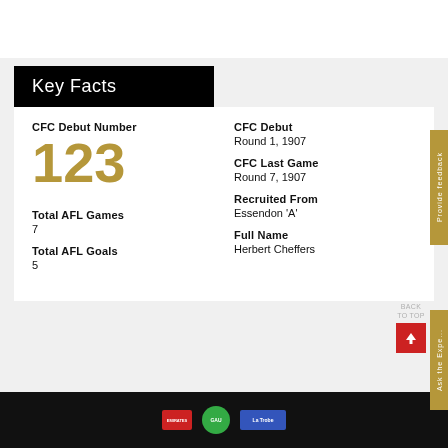Key Facts
CFC Debut Number
123
CFC Debut
Round 1, 1907
CFC Last Game
Round 7, 1907
Total AFL Games
7
Recruited From
Essendon 'A'
Total AFL Goals
5
Full Name
Herbert Cheffers
Emirates | GAU | La Trobe